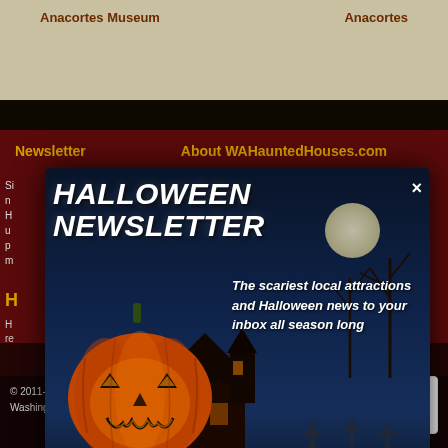Anacortes Museum | Anacortes
Newsletter | About WAHauntedHouses.com
[Figure (screenshot): Halloween Newsletter popup modal with spooky scene: glowing jack-o-lantern pumpkin on left, haunted house silhouette in background, moonlit blue sky with crosses/gravestones. Title reads HALLOWEEN NEWSLETTER with X close button. Text: The scariest local attractions and Halloween news to your inbox all season long. Washington Edition. Email input field with Join button.]
Haunt Fans: Log In • Sign Up
© 2011-2022 WAHauntedHouses.com. All rights reserved. Washington State's Halloween Entertainment Guide™